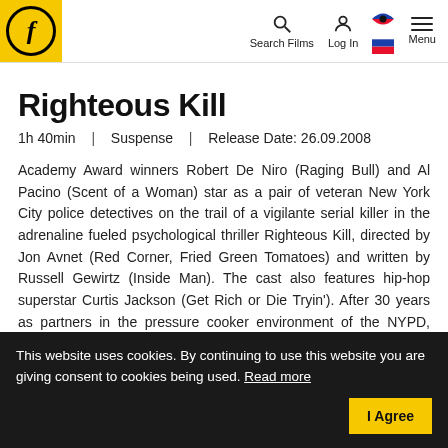f | Search Films | Log In | [flags] | Menu
Righteous Kill
1h 40min  |  Suspense  |  Release Date: 26.09.2008
Academy Award winners Robert De Niro (Raging Bull) and Al Pacino (Scent of a Woman) star as a pair of veteran New York City police detectives on the trail of a vigilante serial killer in the adrenaline fueled psychological thriller Righteous Kill, directed by Jon Avnet (Red Corner, Fried Green Tomatoes) and written by Russell Gewirtz (Inside Man). The cast also features hip-hop superstar Curtis Jackson (Get Rich or Die Tryin'). After 30 years as partners in the pressure cooker environment of the NYPD, highly decorated Detectives David Fisk and
Read More
This website uses cookies. By continuing to use this website you are giving consent to cookies being used. Read more | I Agree